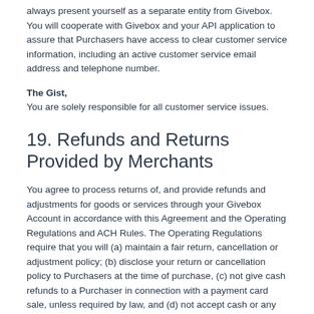always present yourself as a separate entity from Givebox. You will cooperate with Givebox and your API application to assure that Purchasers have access to clear customer service information, including an active customer service email address and telephone number.
The Gist,
You are solely responsible for all customer service issues.
19. Refunds and Returns Provided by Merchants
You agree to process returns of, and provide refunds and adjustments for goods or services through your Givebox Account in accordance with this Agreement and the Operating Regulations and ACH Rules. The Operating Regulations require that you will (a) maintain a fair return, cancellation or adjustment policy; (b) disclose your return or cancellation policy to Purchasers at the time of purchase, (c) not give cash refunds to a Purchaser in connection with a payment card sale, unless required by law, and (d) not accept cash or any other item of value for preparing a payment card sale refund. Your refund policies must be the same for all payment methods. If your Purchaser is dissatisfied with your refund policy, the Purchaser may chargeback the payment. You may not bill or collect from any Purchaser for any purchase or payment by means of a card unless the Purchaser has exercised the right to receive a full and fair disclosure of the terms